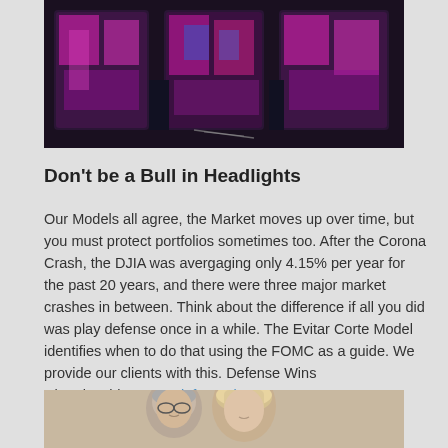[Figure (photo): Colorful artistic photo showing large decorative letters with pink, blue, and purple hues on a dark background]
Don't be a Bull in Headlights
Our Models all agree, the Market moves up over time, but you must protect portfolios sometimes too. After the Corona Crash, the DJIA was avergaging only 4.15% per year for the past 20 years, and there were three major market crashes in between. Think about the difference if all you did was play defense once in a while. The Evitar Corte Model identifies when to do that using the FOMC as a guide. We provide our clients with this. Defense Wins Chamionships. More information.
[Figure (photo): Photo of an older couple, a man with glasses and gray hair and a blonde woman, smiling together]